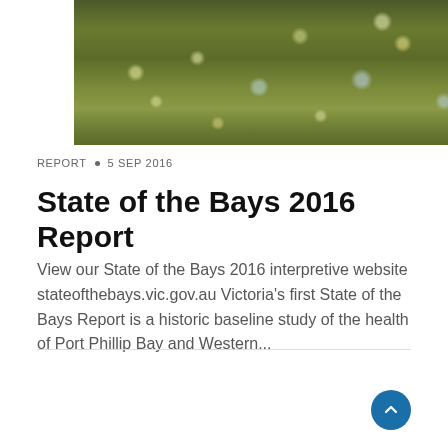[Figure (photo): Close-up nature photo showing bokeh light dots against dark green foliage/water background]
REPORT • 5 SEP 2016
State of the Bays 2016 Report
View our State of the Bays 2016 interpretive website stateofthebays.vic.gov.au Victoria's first State of the Bays Report is a historic baseline study of the health of Port Phillip Bay and Western...
[Figure (photo): Forest/woodland scene with rays of light through trees]